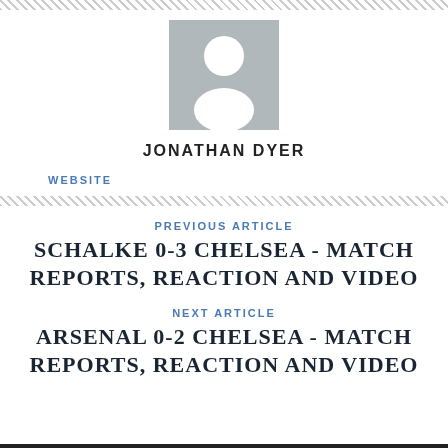[Figure (illustration): Placeholder avatar silhouette image of a person in a grey square]
JONATHAN DYER
WEBSITE
PREVIOUS ARTICLE
SCHALKE 0-3 CHELSEA - MATCH REPORTS, REACTION AND VIDEO
NEXT ARTICLE
ARSENAL 0-2 CHELSEA - MATCH REPORTS, REACTION AND VIDEO